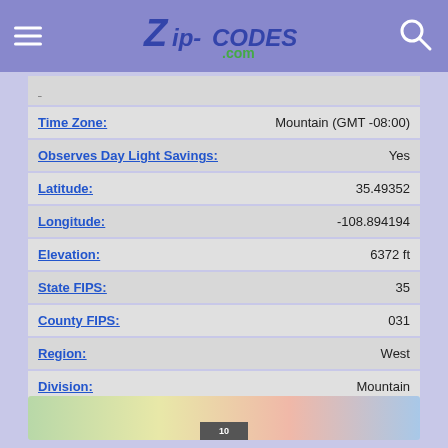Zip-Codes.com
| Field | Value |
| --- | --- |
| Time Zone: | Mountain (GMT -08:00) |
| Observes Day Light Savings: | Yes |
| Latitude: | 35.49352 |
| Longitude: | -108.894194 |
| Elevation: | 6372 ft |
| State FIPS: | 35 |
| County FIPS: | 031 |
| Region: | West |
| Division: | Mountain |
| Intro Date: | <2004-10 |
[Figure (map): Partial map preview at bottom of page]